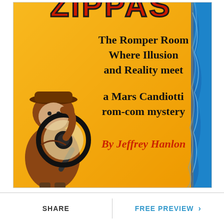[Figure (illustration): Book cover for a Mars Candiotti rom-com mystery. Orange/yellow background with a cartoon detective holding a magnifying glass on the left. Text reads: 'ZIPPAS' (partially cropped at top in red with black outline), 'The Romper Room Where Illusion and Reality meet', 'a Mars Candiotti rom-com mystery', 'By Jeffrey Hanlon' in red. Right edge shows a blue marbled texture.]
SHARE
FREE PREVIEW ›